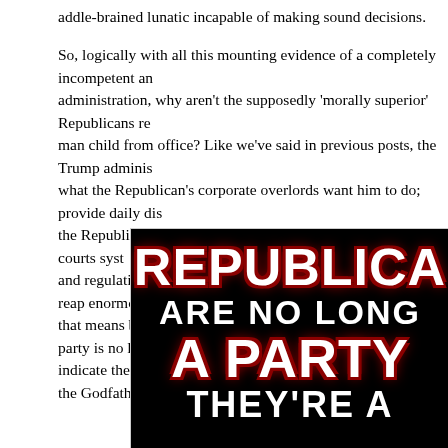addle-brained lunatic incapable of making sound decisions.

So, logically with all this mounting evidence of a completely incompetent an administration, why aren't the supposedly 'morally superior' Republicans re man child from office? Like we've said in previous posts, the Trump adminis what the Republican's corporate overlords want him to do; provide daily dis the Republican corporate lackeys in the Senate, House and the courts syst and regulations therefore enabling the corporate oligarchy to reap enormou that means breaking the law, then so be it. The Republican party is no long indicate they are now a crime syndicate worthy of praise from the Godfather
[Figure (other): Black background image with bold text reading 'REPUBLICANS ARE NO LONGER A PARTY THEY'RE A' in white and red colored letters with shadow effects]